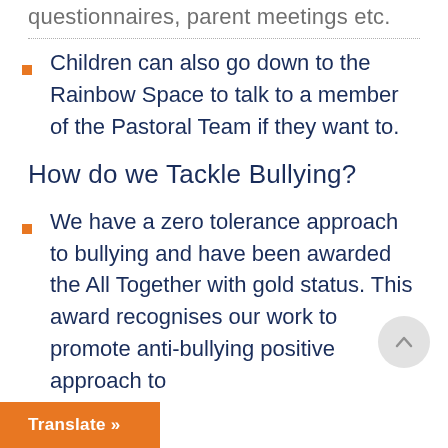questionnaires, parent meetings etc.
Children can also go down to the Rainbow Space to talk to a member of the Pastoral Team if they want to.
How do we Tackle Bullying?
We have a zero tolerance approach to bullying and have been awarded the All Together with gold status. This award recognises our work to promote anti-bullying positive approach to
Translate »